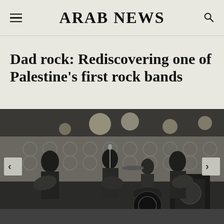ARAB NEWS
Dad rock: Rediscovering one of Palestine's first rock bands
[Figure (photo): Black and white photograph of a rock band performing on stage, with multiple musicians playing electric guitars and a vocalist at the microphone. Stage lighting and patterned backdrop visible. Navigation arrows on left and right sides of the image.]